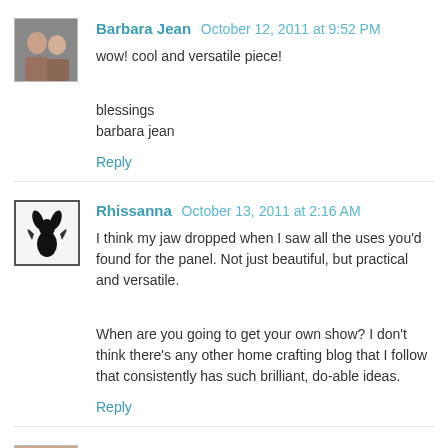[Figure (photo): Avatar photo of Barbara Jean showing two people]
Barbara Jean October 12, 2011 at 9:52 PM
wow! cool and versatile piece!

blessings
barbara jean
Reply
[Figure (illustration): Avatar image of Rhissanna showing a black silhouette of a fairy/rabbit]
Rhissanna October 13, 2011 at 2:16 AM
I think my jaw dropped when I saw all the uses you'd found for the panel. Not just beautiful, but practical and versatile.

When are you going to get your own show? I don't think there's any other home crafting blog that I follow that consistently has such brilliant, do-able ideas.
Reply
[Figure (photo): Avatar photo of Sandi@ Rose Chintz Cottage]
Sandi@ Rose Chintz Cottage October 13, 2011 at 7:30 AM